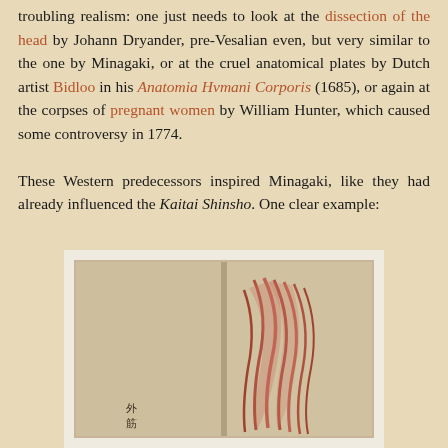troubling realism: one just needs to look at the dissection of the head by Johann Dryander, pre-Vesalian even, but very similar to the one by Minagaki, or at the cruel anatomical plates by Dutch artist Bidloo in his Anatomia Hvmani Corporis (1685), or again at the corpses of pregnant women by William Hunter, which caused some controversy in 1774. These Western predecessors inspired Minagaki, like they had already influenced the Kaitai Shinsho. One clear example:
[Figure (photo): An open book showing an anatomical illustration of layered muscle or tendon structures in red/pink on an aged paper background, with Japanese text (characters) at the bottom.]